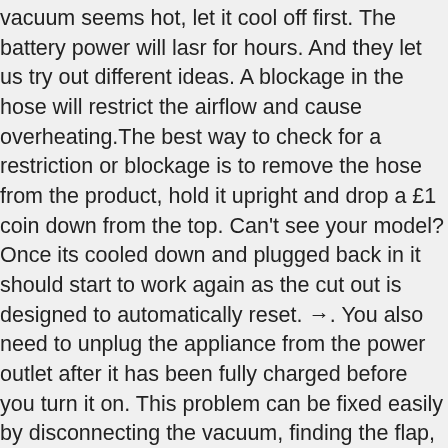vacuum seems hot, let it cool off first. The battery power will lasr for hours. And they let us try out different ideas. A blockage in the hose will restrict the airflow and cause overheating.The best way to check for a restriction or blockage is to remove the hose from the product, hold it upright and drop a £1 coin down from the top. Can't see your model? Once its cooled down and plugged back in it should start to work again as the cut out is designed to automatically reset. →. You also need to unplug the appliance from the power outlet after it has been fully charged before you turn it on. This problem can be fixed easily by disconnecting the vacuum, finding the flap, and pushing it gently to make it lose. Shark vacuum problems affect how well the vacuum operates, including preventing it from picking up dirt and debris properly and potentially causing the machine to release already-contained dirt into the air. A bin replacement may also be helpful. A tripped overload on the vacuum suction motor can shut off the vacuum cleaner during use. Therefore, remove the filters from the top of the vacuum and then test the machine to see if it